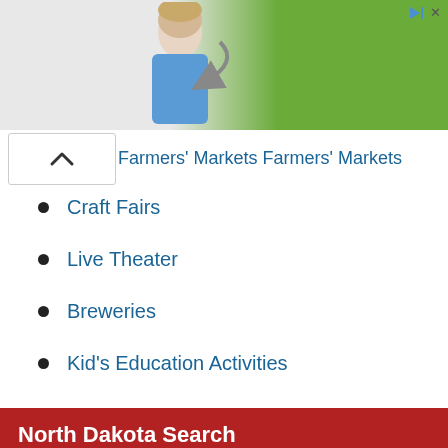[Figure (photo): Advertisement banner with a woman in blue scrubs standing next to a dark arrow shape on a green/grey background, with a play/skip ad icon in top right corner]
Farmers' Markets
Craft Fairs
Live Theater
Breweries
Kid's Education Activities
North Dakota Search
[Figure (other): Search input field with a dark blue search button containing a magnifying glass icon]
Best Places To Go Near You